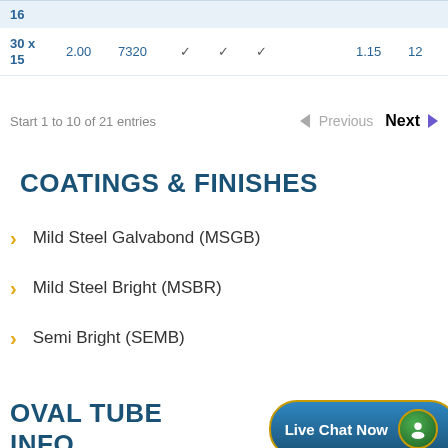| Dim | Val1 | Val2 | Ch1 | Ch2 | Ch3 | Wt | Num |
| --- | --- | --- | --- | --- | --- | --- | --- |
| 16 |  |  |  |  |  |  |  |
| 30 x 15 | 2.00 | 7320 | ✓ | ✓ | ✓ | 1.15 | 12 |
Start 1 to 10 of 21 entries
Previous Next
COATINGS & FINISHES
Mild Steel Galvabond (MSGB)
Mild Steel Bright (MSBR)
Semi Bright (SEMB)
OVAL TUBE INFO
[Figure (other): Live Chat Now button with green agent icon]